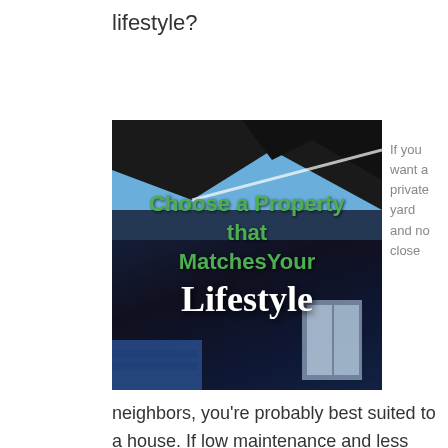lifestyle?
[Figure (photo): House exterior photo with overlaid text: 'Choose a Property that Matches Your Lifestyle' in green and white fonts on a dark background]
If you want a private yard and no close
neighbors, you're probably best suited to a house. If low maintenance and less responsibility are among your goals, a condo or townhome is for you. There are many factors to consider, and when you look at all